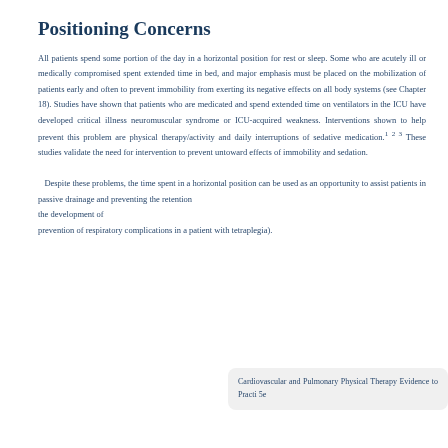Positioning Concerns
All patients spend some portion of the day in a horizontal position for rest or sleep. Some who are acutely ill or medically compromised spent extended time in bed, and major emphasis must be placed on the mobilization of patients early and often to prevent immobility from exerting its negative effects on all body systems (see Chapter 18). Studies have shown that patients who are medicated and spend extended time on ventilators in the ICU have developed critical illness neuromuscular syndrome or ICU-acquired weakness. Interventions shown to help prevent this problem are physical therapy/activity and daily interruptions of sedative medication.¹²³ These studies validate the need for intervention to prevent untoward effects of immobility and sedation.
   Despite these problems, the time spent in a horizontal position can be used as an opportunity to assist patients in passive drainage and preventing the retention the development of prevention of respiratory complications in a patient with tetraplegia).
Cardiovascular and Pulmonary Physical Therapy Evidence to Practi 5e